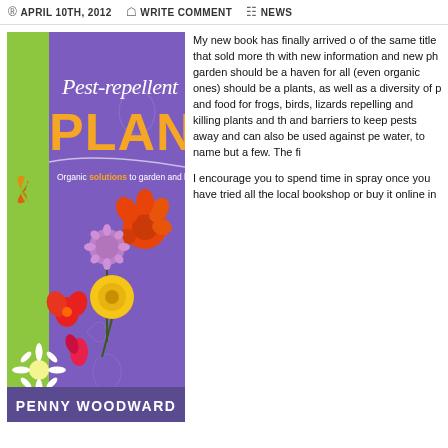APRIL 10TH, 2012  WRITE COMMENT  NEWS
[Figure (illustration): Book cover for 'Pest-repellent Plants' by Penny Woodward. Purple and green cover with colorful flowers including marigolds, daisies, and alliums. Subtitle: Organic solutions to garden and household pests.]
My new book has finally arrived of the same title that sold more th with new information and new ph garden should be a haven for all (even organic ones) should be a plants, as well as a diversity of p and food for frogs, birds, lizards repelling and killing plants and th and barriers to keep pests away and can also be used against pe water, to name but a few. The fi
I encourage you to spend time in spray once you have tried all the local bookshop or buy it online in